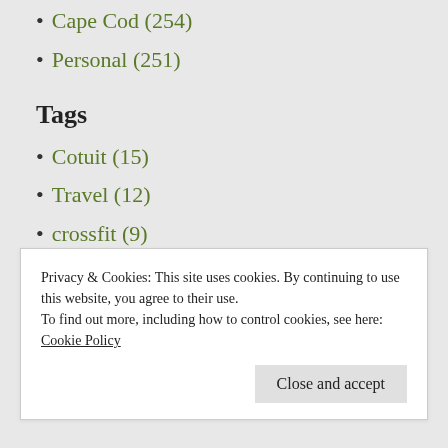Cape Cod (254)
Personal (251)
Tags
Cotuit (15)
Travel (12)
crossfit (9)
Olympics (7)
Rowing (7)
Year
Privacy & Cookies: This site uses cookies. By continuing to use this website, you agree to their use.
To find out more, including how to control cookies, see here:
Cookie Policy
Close and accept